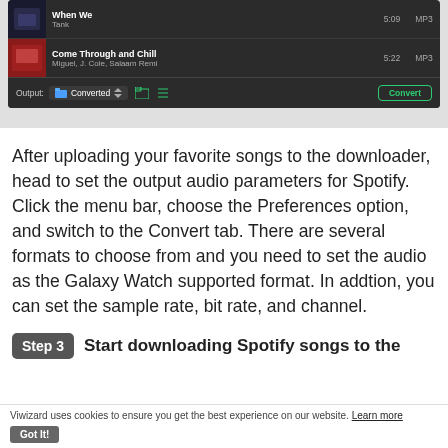[Figure (screenshot): Screenshot of a music converter application UI showing two song rows (When We by Tank, 5:09, MP3; Come Through and Chill by Miguel, J. Cole, Salaam Remi, 5:22, MP3) and an output bar with Converted folder and Convert button.]
After uploading your favorite songs to the downloader, head to set the output audio parameters for Spotify. Click the menu bar, choose the Preferences option, and switch to the Convert tab. There are several formats to choose from and you need to set the audio as the Galaxy Watch supported format. In addtion, you can set the sample rate, bit rate, and channel.
Step 3  Start downloading Spotify songs to the
Viwizard uses cookies to ensure you get the best experience on our website. Learn more
Got It!